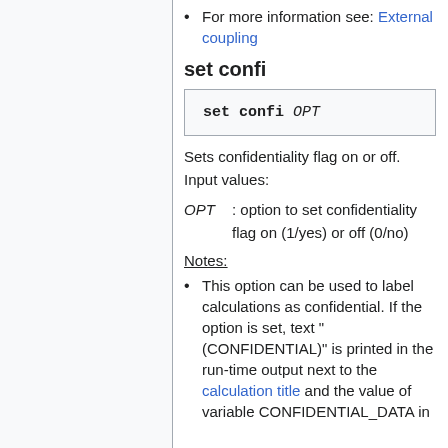For more information see: External coupling
set confi
Sets confidentiality flag on or off. Input values:
OPT : option to set confidentiality flag on (1/yes) or off (0/no)
Notes:
This option can be used to label calculations as confidential. If the option is set, text "(CONFIDENTIAL)" is printed in the run-time output next to the calculation title and the value of variable CONFIDENTIAL_DATA in